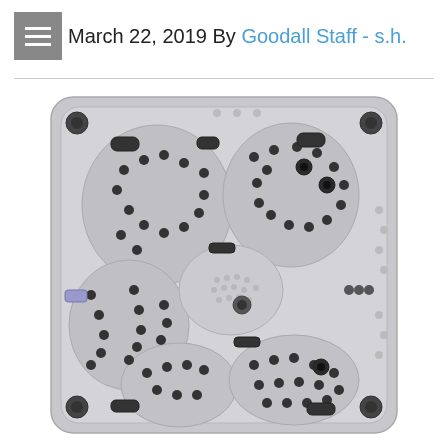March 22, 2019 By Goodall Staff - s.h.
[Figure (photo): Aerial/top-down view of a hot tub spa with multiple seats, jets, and controls visible. The spa is light gray/silver in color with dark jet nozzles throughout.]